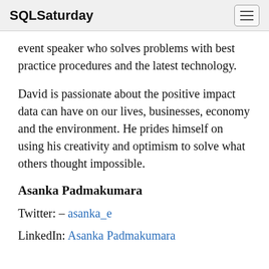SQLSaturday
event speaker who solves problems with best practice procedures and the latest technology.
David is passionate about the positive impact data can have on our lives, businesses, economy and the environment. He prides himself on using his creativity and optimism to solve what others thought impossible.
Asanka Padmakumara
Twitter: - asanka_e
LinkedIn: Asanka Padmakumara